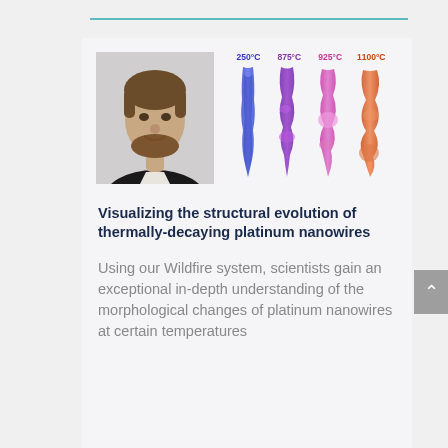[Figure (photo): Portrait photo of a young man with a beard, wearing a dark suit jacket and white shirt, against a light background. Beside the portrait are four elongated microscopy images of platinum nanowires at different temperatures: 250°C (blue), 875°C (purple), 925°C (pink-purple), and 1100°C (orange-red), showing structural changes.]
Visualizing the structural evolution of thermally-decaying platinum nanowires
Using our Wildfire system, scientists gain an exceptional in-depth understanding of the morphological changes of platinum nanowires at certain temperatures